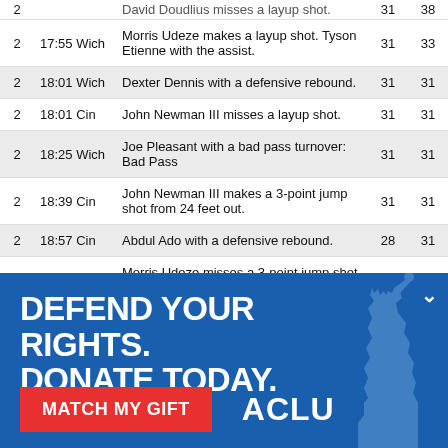| Qtr | Time Team | Description | Score1 | Score2 |
| --- | --- | --- | --- | --- |
| 2 | 17:55 Wich | Morris Udeze makes a layup shot. Tyson Etienne with the assist. | 31 | 33 |
| 2 | 18:01 Wich | Dexter Dennis with a defensive rebound. | 31 | 31 |
| 2 | 18:01 Cin | John Newman III misses a layup shot. | 31 | 31 |
| 2 | 18:25 Wich | Joe Pleasant with a bad pass turnover: Bad Pass | 31 | 31 |
| 2 | 18:39 Cin | John Newman III makes a 3-point jump shot from 24 feet out. | 31 | 31 |
| 2 | 18:57 Cin | Abdul Ado with a defensive rebound. | 28 | 31 |
| 2 | 18:57 Wich | Morris Udeze misses a 3-point jump shot from 26 feet out. | 28 | 31 |
[Figure (infographic): ACLU advertisement banner: 'DEFEND YOUR RIGHTS. DONATE TODAY.' with a red 'MATCH MY GIFT' button and ACLU logo. Blue background with Statue of Liberty graphic.]